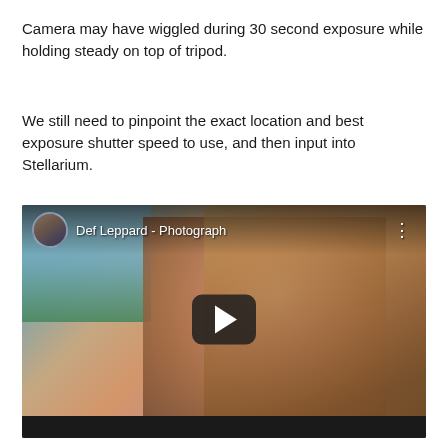Camera may have wiggled during 30 second exposure while holding steady on top of tripod.
We still need to pinpoint the exact location and best exposure shutter speed to use, and then input into Stellarium.
[Figure (screenshot): YouTube video embed showing 'Def Leppard - Photograph' with a thumbnail of a woman with blonde hair looking down, a play button in the center, and the channel thumbnail and title in the top-left corner.]